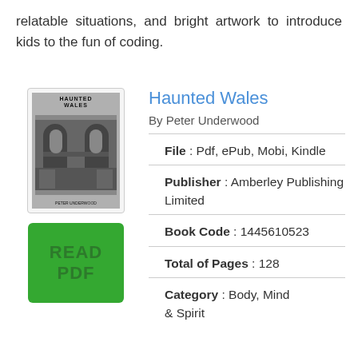relatable situations, and bright artwork to introduce kids to the fun of coding.
Haunted Wales
By Peter Underwood
[Figure (illustration): Book cover of Haunted Wales showing gothic arch ruins in black and white]
[Figure (other): Green READ PDF button]
File : Pdf, ePub, Mobi, Kindle
Publisher : Amberley Publishing Limited
Book Code : 1445610523
Total of Pages : 128
Category : Body, Mind & Spirit